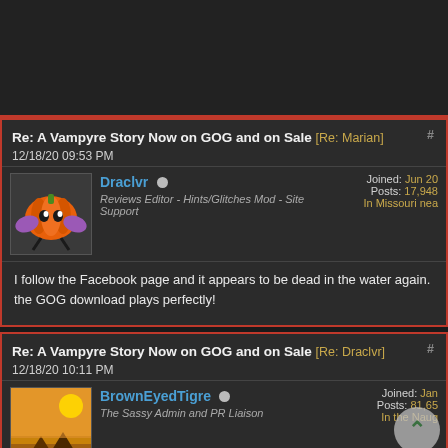[top strip / previous post area]
Re: A Vampyre Story Now on GOG and on Sale [Re: Marian] #
12/18/20 09:53 PM
Draclvr  Reviews Editor - Hints/Glitches Mod - Site Support  Joined: Jun 20  Posts: 17,948  In Missouri nea
I follow the Facebook page and it appears to be dead in the water again. the GOG download plays perfectly!
Re: A Vampyre Story Now on GOG and on Sale [Re: Draclvr] #
12/18/20 10:11 PM
BrownEyedTigre  The Sassy Admin and PR Liaison  Joined: Jan  Posts: 81,65  In the Naug